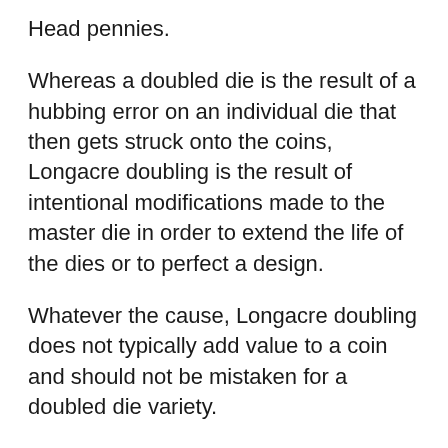Head pennies.
Whereas a doubled die is the result of a hubbing error on an individual die that then gets struck onto the coins, Longacre doubling is the result of intentional modifications made to the master die in order to extend the life of the dies or to perfect a design.
Whatever the cause, Longacre doubling does not typically add value to a coin and should not be mistaken for a doubled die variety.
The main distinguishing factor is that Longacre doubling can be seen on both sides of the design elements, while a doubled die effect is only seen on one side.